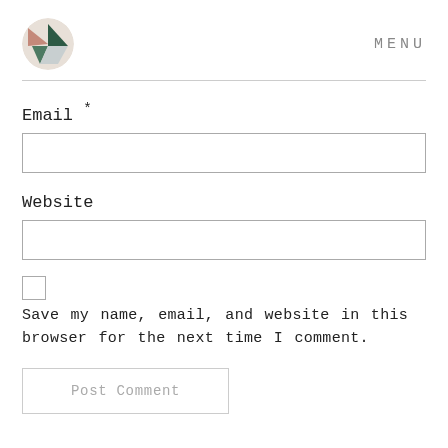MENU
Email *
Website
Save my name, email, and website in this browser for the next time I comment.
Post Comment